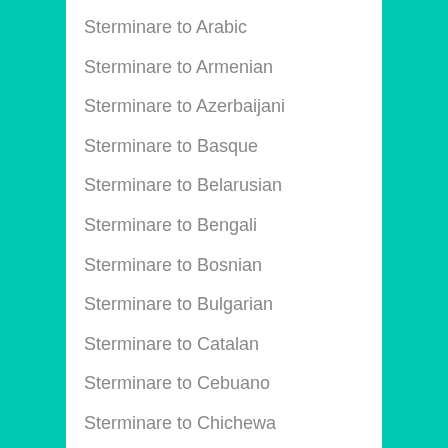Sterminare to Arabic
Sterminare to Armenian
Sterminare to Azerbaijani
Sterminare to Basque
Sterminare to Belarusian
Sterminare to Bengali
Sterminare to Bosnian
Sterminare to Bulgarian
Sterminare to Catalan
Sterminare to Cebuano
Sterminare to Chichewa
Sterminare to Chinese Simplified
Sterminare to Chinese Traditional
Sterminare to Corsican